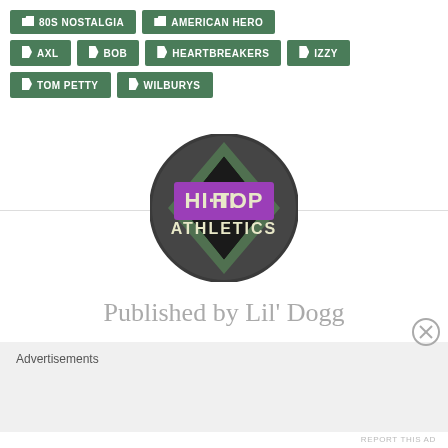80S NOSTALGIA
AMERICAN HERO
AXL
BOB
HEARTBREAKERS
IZZY
TOM PETTY
WILBURYS
[Figure (logo): HI-TOP ATHLETICS circular logo with green diamond shape on dark gray/black circle background, purple rectangle with 'HI-TOP' text and dot separator, 'ATHLETICS' in white bold text below]
Published by Lil' Dogg
Advertisements
REPORT THIS AD